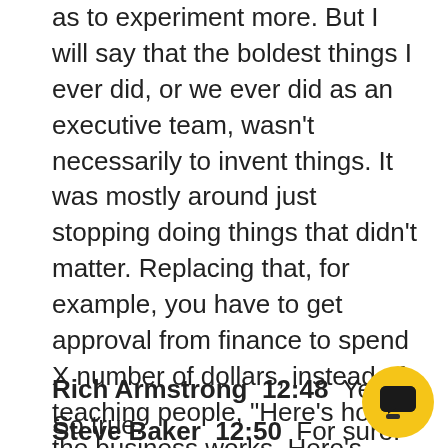as to experiment more. But I will say that the boldest things I ever did, or we ever did as an executive team, wasn't necessarily to invent things. It was mostly around just stopping doing things that didn't matter. Replacing that, for example, you have to get approval from finance to spend X number of dollars, instead of teaching people, "Here's how the business works. Here's what our budgetary constraints are. Here's the profit percentage, here's our fixed costs. So make your decisions, do good judgment, make your spending decisions within the context of those parameters." And smart people can do that
Rich Armstrong  12:48  Yeah. So true.
Steve Baker  12:50  For sure.